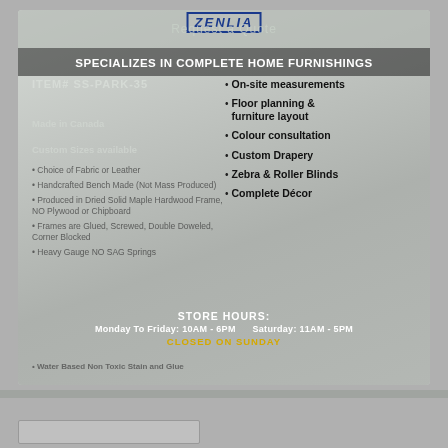[Figure (photo): Advertisement for Zenlia home furnishings store overlaid on a bright white living room interior with sofa and plant. Contains logo, tagline, item number, services list, store hours.]
SPECIALIZES IN COMPLETE HOME FURNISHINGS
ITEM# SS-PARK-35
Made in Canada
Custom Sizes available
Choice of Fabric or Leather
Handcrafted Bench Made (Not Mass Produced)
Produced in Dried Solid Maple Hardwood Frame, NO Plywood or Chipboard
Frames are Glued, Screwed, Double Doweled, Corner Blocked
Heavy Gauge NO SAG Springs
On-site measurements
Floor planning & furniture layout
Colour consultation
Custom Drapery
Zebra & Roller Blinds
Complete Décor
STORE HOURS:
Monday To Friday: 10AM - 6PM     Saturday: 11AM - 5PM
CLOSED ON SUNDAY
Water Based Non Toxic Stain and Glue